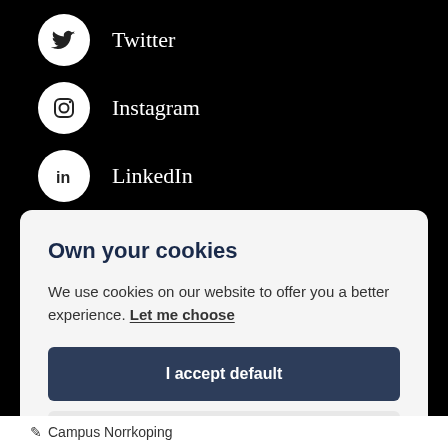Twitter
Instagram
LinkedIn
Own your cookies
We use cookies on our website to offer you a better experience. Let me choose
I accept default
Only necessary
Campus Norrkoping